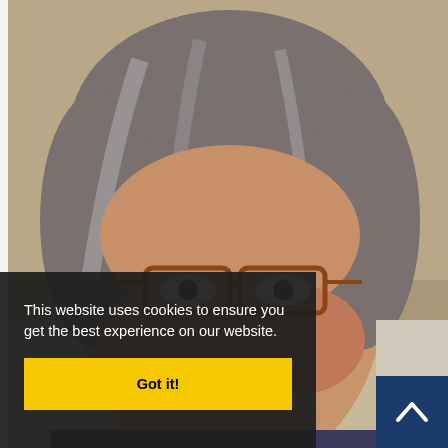[Figure (photo): Portrait photo of an older woman with gray hair and red-framed glasses, smiling, photographed outdoors against a stone background]
This website uses cookies to ensure you get the best experience on our website.
Got it!